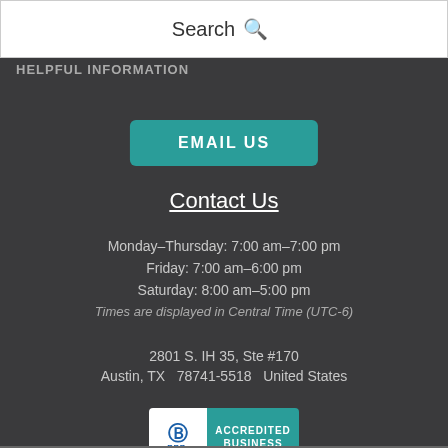Search
HELPFUL INFORMATION
EMAIL US
Contact Us
Monday–Thursday: 7:00 am–7:00 pm
Friday: 7:00 am–6:00 pm
Saturday: 8:00 am–5:00 pm
Times are displayed in Central Time (UTC-6)
2801 S. IH 35, Ste #170
Austin, TX   78741-5518   United States
[Figure (logo): BBB Accredited Business badge with blue and white BBB logo on left and teal background with ACCREDITED BUSINESS text on right]